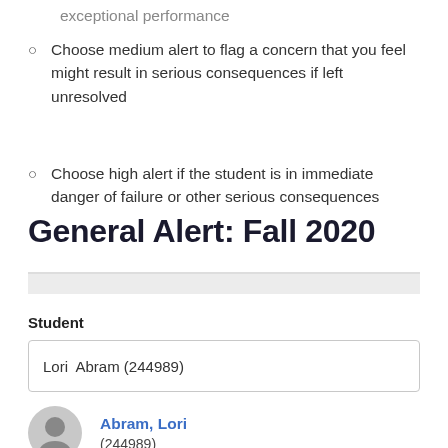exceptional performance
Choose medium alert to flag a concern that you feel might result in serious consequences if left unresolved
Choose high alert if the student is in immediate danger of failure or other serious consequences
General Alert: Fall 2020
Student
Lori  Abram (244989)
Abram, Lori
(244989)